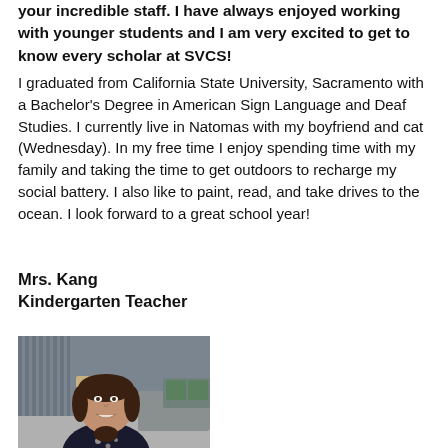your incredible staff. I have always enjoyed working with younger students and I am very excited to get to know every scholar at SVCS!
I graduated from California State University, Sacramento with a Bachelor's Degree in American Sign Language and Deaf Studies. I currently live in Natomas with my boyfriend and cat (Wednesday). In my free time I enjoy spending time with my family and taking the time to get outdoors to recharge my social battery. I also like to paint, read, and take drives to the ocean. I look forward to a great school year!
Mrs. Kang
Kindergarten Teacher
[Figure (photo): Photo of Mrs. Kang, a woman with dark hair, smiling, wearing a dark sleeveless top with floral pattern, seated outdoors with a blurred background showing chairs, tables, and a couch with green pillows.]